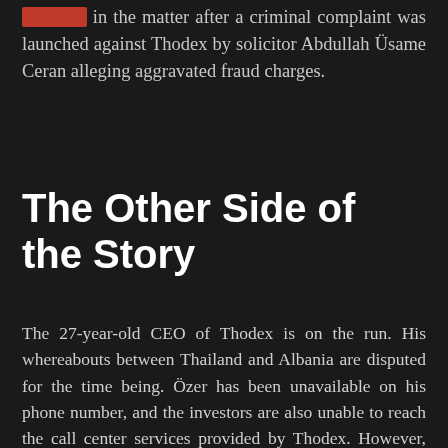involved in the matter after a criminal complaint was launched against Thodex by solicitor Abdullah Üsame Ceran alleging aggravated fraud charges.
The Other Side of the Story
The 27-year-old CEO of Thodex is on the run. His whereabouts between Thailand and Albania are disputed for the time being. Özer has been unavailable on his phone number, and the investors are also unable to reach the call center services provided by Thodex. However, yesterday he started the